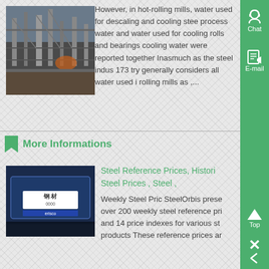[Figure (photo): Industrial facility with metal scaffolding and hot-rolling mill equipment]
However, in hot-rolling mills, water used for descaling and cooling steel process water and water used for cooling rolls and bearings cooling water were reported together Inasmuch as the steel indus 173 try generally considers all water used in rolling mills as ,...
More Informations
[Figure (photo): Packaged steel bars with Chinese label text showing 钢材 (steel material)]
Steel Reference Prices, Historical Steel Prices , Steel ,
Weekly Steel Pric SteelOrbis presents over 200 weekly steel reference prices and 14 price indexes for various steel products These reference prices are